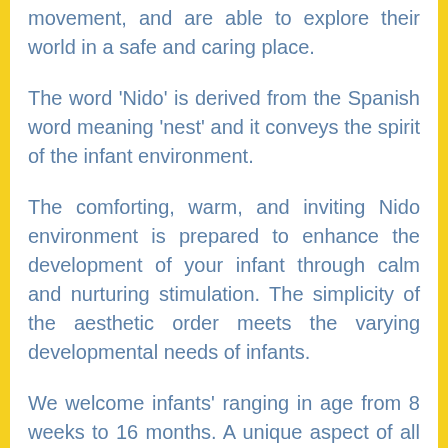movement, and are able to explore their world in a safe and caring place.
The word 'Nido' is derived from the Spanish word meaning 'nest' and it conveys the spirit of the infant environment.
The comforting, warm, and inviting Nido environment is prepared to enhance the development of your infant through calm and nurturing stimulation. The simplicity of the aesthetic order meets the varying developmental needs of infants.
We welcome infants' ranging in age from 8 weeks to 16 months. A unique aspect of all Montessori